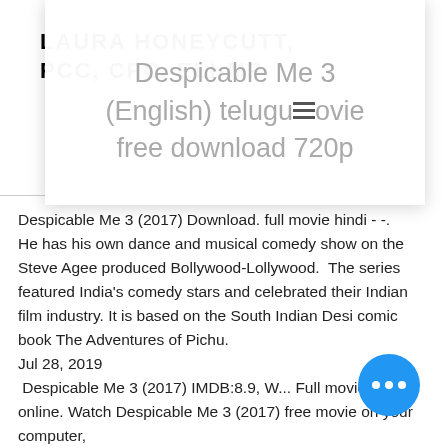LAURA HONEYCUTT, PCC, CPC, ELI-MP
Despicable Me 3 (English) telugu movie free download 720p
Despicable Me 3 (2017) Download. full movie hindi - -.
He has his own dance and musical comedy show on the Steve Agee produced Bollywood-Lollywood.  The series featured India's comedy stars and celebrated their Indian film industry. It is based on the South Indian Desi comic book The Adventures of Pichu.
Jul 28, 2019
Despicable Me 3 (2017) IMDB:8.9, W... Full movie. Watch online. Watch Despicable Me 3 (2017) free movie on your computer,